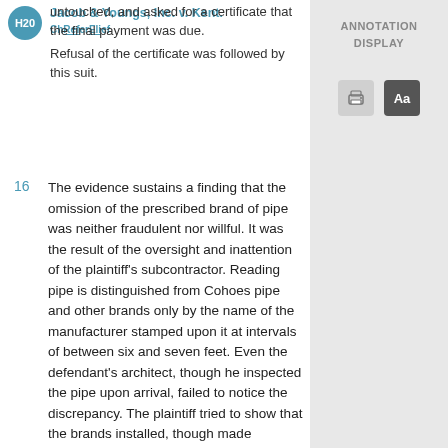Jacob & Youngs, Inc. v. Kent.
untouched, and asked for a certificate that the final payment was due. Refusal of the certificate was followed by this suit.
16  The evidence sustains a finding that the omission of the prescribed brand of pipe was neither fraudulent nor willful. It was the result of the oversight and inattention of the plaintiff's subcontractor. Reading pipe is distinguished from Cohoes pipe and other brands only by the name of the manufacturer stamped upon it at intervals of between six and seven feet. Even the defendant's architect, though he inspected the pipe upon arrival, failed to notice the discrepancy. The plaintiff tried to show that the brands installed, though made
ANNOTATION DISPLAY